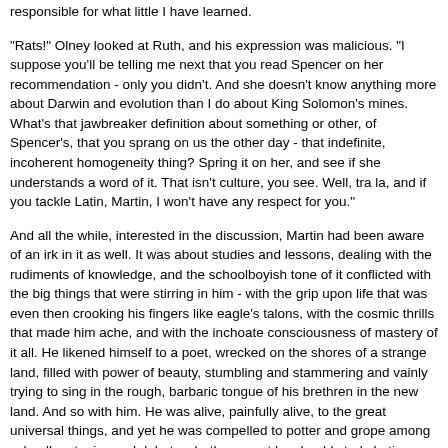responsible for what little I have learned.
"Rats!" Olney looked at Ruth, and his expression was malicious. "I suppose you'll be telling me next that you read Spencer on her recommendation - only you didn't. And she doesn't know anything more about Darwin and evolution than I do about King Solomon's mines. What's that jawbreaker definition about something or other, of Spencer's, that you sprang on us the other day - that indefinite, incoherent homogeneity thing? Spring it on her, and see if she understands a word of it. That isn't culture, you see. Well, tra la, and if you tackle Latin, Martin, I won't have any respect for you."
And all the while, interested in the discussion, Martin had been aware of an irk in it as well. It was about studies and lessons, dealing with the rudiments of knowledge, and the schoolboyish tone of it conflicted with the big things that were stirring in him - with the grip upon life that was even then crooking his fingers like eagle's talons, with the cosmic thrills that made him ache, and with the inchoate consciousness of mastery of it all. He likened himself to a poet, wrecked on the shores of a strange land, filled with power of beauty, stumbling and stammering and vainly trying to sing in the rough, barbaric tongue of his brethren in the new land. And so with him. He was alive, painfully alive, to the great universal things, and yet he was compelled to potter and grope among schoolboy topics and debate whether or not he should study Latin.
"What in hell has Latin to do with it?" he demanded before his mirror that night. "I wish dead people would stay dead. Why should I and the beauty in me be ruled by the dead? Beauty is alive and everlasting. Languages come and go. They are the dust of the dead."
And his next thought was that he had been phrasing his ideas very well,